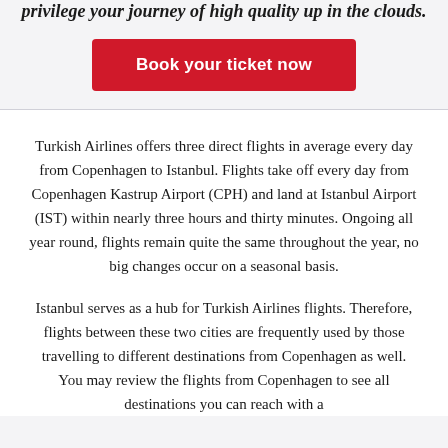privilege your journey of high quality up in the clouds.
Book your ticket now
Turkish Airlines offers three direct flights in average every day from Copenhagen to Istanbul. Flights take off every day from Copenhagen Kastrup Airport (CPH) and land at Istanbul Airport (IST) within nearly three hours and thirty minutes. Ongoing all year round, flights remain quite the same throughout the year, no big changes occur on a seasonal basis.
Istanbul serves as a hub for Turkish Airlines flights. Therefore, flights between these two cities are frequently used by those travelling to different destinations from Copenhagen as well. You may review the flights from Copenhagen to see all destinations you can reach with a